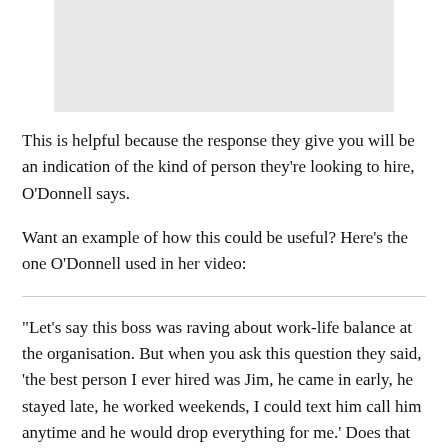[Figure (photo): Gray placeholder image at top of page]
This is helpful because the response they give you will be an indication of the kind of person they're looking to hire, O'Donnell says.
Want an example of how this could be useful? Here's the one O'Donnell used in her video:
“Let’s say this boss was raving about work-life balance at the organisation. But when you ask this question they said, ‘the best person I ever hired was Jim, he came in early, he stayed late, he worked weekends, I could text him call him anytime and he would drop everything for me.’ Does that sounds like work-life balance to you? No. It’s a very revealing question about what this boss admires and respects, which means that’s going to predict what you’re